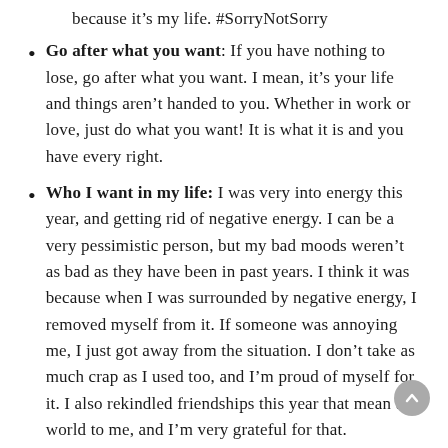because it's my life. #SorryNotSorry
Go after what you want: If you have nothing to lose, go after what you want. I mean, it's your life and things aren't handed to you. Whether in work or love, just do what you want! It is what it is and you have every right.
Who I want in my life: I was very into energy this year, and getting rid of negative energy. I can be a very pessimistic person, but my bad moods weren't as bad as they have been in past years. I think it was because when I was surrounded by negative energy, I removed myself from it. If someone was annoying me, I just got away from the situation. I don't take as much crap as I used too, and I'm proud of myself for it. I also rekindled friendships this year that mean the world to me, and I'm very grateful for that.